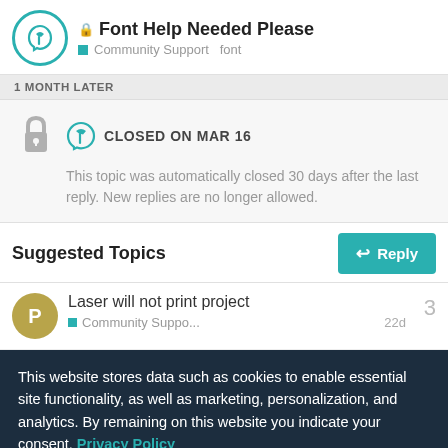Font Help Needed Please — Community Support  font
1 MONTH LATER
CLOSED ON MAR 16
This topic was automatically closed 30 days after the last reply. New replies are no longer allowed.
Suggested Topics
Laser will not print project
Community Suppo...  22d  3
This website stores data such as cookies to enable essential site functionality, as well as marketing, personalization, and analytics. By remaining on this website you indicate your consent. Privacy Policy